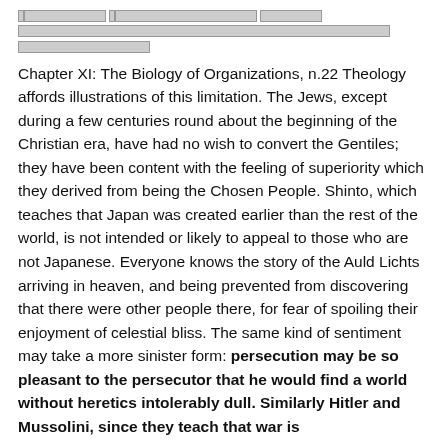[unreadable header text with mixed characters and symbols]
Chapter XI: The Biology of Organizations, n.22 Theology affords illustrations of this limitation. The Jews, except during a few centuries round about the beginning of the Christian era, have had no wish to convert the Gentiles; they have been content with the feeling of superiority which they derived from being the Chosen People. Shinto, which teaches that Japan was created earlier than the rest of the world, is not intended or likely to appeal to those who are not Japanese. Everyone knows the story of the Auld Lichts arriving in heaven, and being prevented from discovering that there were other people there, for fear of spoiling their enjoyment of celestial bliss. The same kind of sentiment may take a more sinister form: persecution may be so pleasant to the persecutor that he would find a world without heretics intolerably dull. Similarly Hitler and Mussolini, since they teach that war is